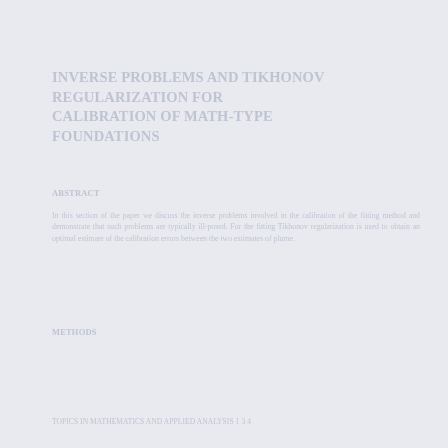INVERSE PROBLEMS AND TIKHONOV REGULARIZATION FOR CALIBRATION OF MATH-TYPE FOUNDATIONS
ABSTRACT
In this section of the paper we discuss the inverse problems involved in the calibration of the fitting method and demonstrate that such problems are typically ill-posed. For the fitting Tikhonov regularization is used to obtain an optimal estimate of the calibration errors between the two estimates of plume.
METHODS
TOPICS IN MATHEMATICS AND APPLIED ANALYSIS 1 3 4